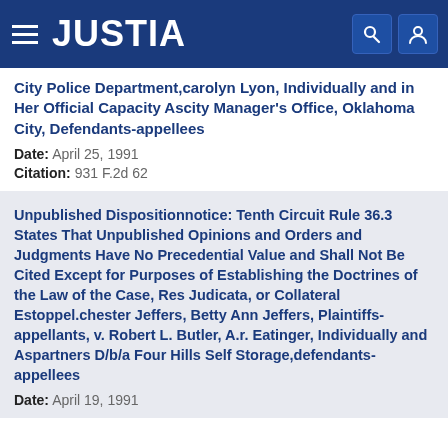JUSTIA
City Police Department,carolyn Lyon, Individually and in Her Official Capacity Ascity Manager's Office, Oklahoma City, Defendants-appellees
Date: April 25, 1991
Citation: 931 F.2d 62
Unpublished Dispositionnotice: Tenth Circuit Rule 36.3 States That Unpublished Opinions and Orders and Judgments Have No Precedential Value and Shall Not Be Cited Except for Purposes of Establishing the Doctrines of the Law of the Case, Res Judicata, or Collateral Estoppel.chester Jeffers, Betty Ann Jeffers, Plaintiffs-appellants, v. Robert L. Butler, A.r. Eatinger, Individually and Aspartners D/b/a Four Hills Self Storage,defendants-appellees
Date: April 19, 1991